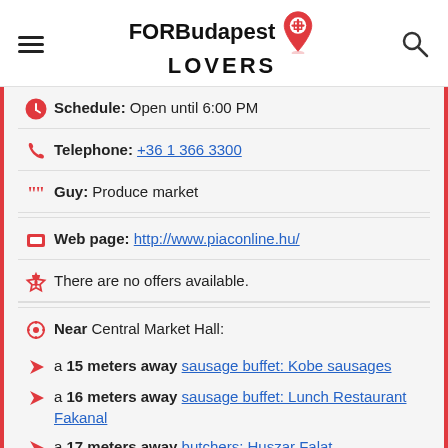FORBudapest LOVERS
Schedule: Open until 6:00 PM
Telephone: +36 1 366 3300
Guy: Produce market
Web page: http://www.piaconline.hu/
There are no offers available.
Near Central Market Hall:
a 15 meters away sausage buffet: Kobe sausages
a 16 meters away sausage buffet: Lunch Restaurant Fakanal
a 17 meters away butchers: Huszar Falat
Are you the owner of the business? PROMOTE